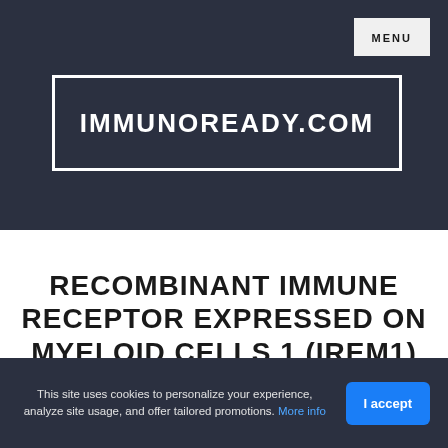MENU
IMMUNOREADY.COM
RECOMBINANT IMMUNE RECEPTOR EXPRESSED ON MYELOID CELLS 1 (IREM1)
This site uses cookies to personalize your experience, analyze site usage, and offer tailored promotions. More info